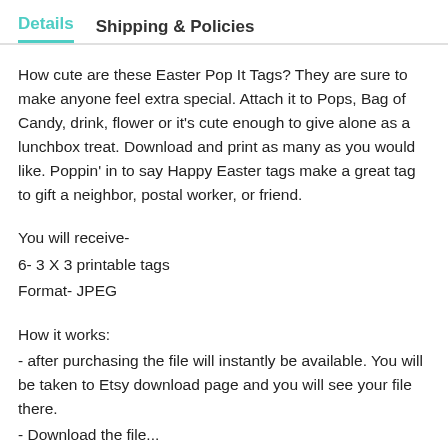Details   Shipping & Policies
How cute are these Easter Pop It Tags? They are sure to make anyone feel extra special. Attach it to Pops, Bag of Candy, drink, flower or it's cute enough to give alone as a lunchbox treat. Download and print as many as you would like. Poppin' in to say Happy Easter tags make a great tag to gift a neighbor, postal worker, or friend.
You will receive-
6- 3 X 3 printable tags
Format- JPEG
How it works:
- after purchasing the file will instantly be available. You will be taken to Etsy download page and you will see your file there.
- Download the file...